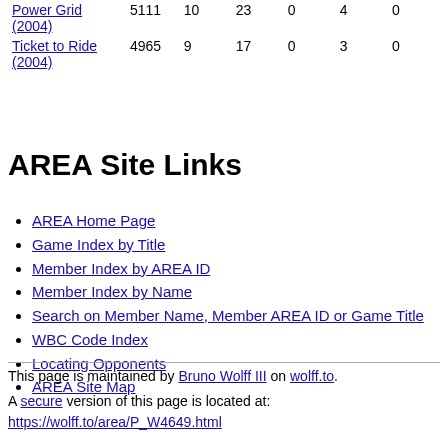| Game |  |  |  |  |  |  |
| --- | --- | --- | --- | --- | --- | --- |
| Power Grid (2004) | 5111 | 10 | 23 | 0 | 4 | 0 |
| Ticket to Ride (2004) | 4965 | 9 | 17 | 0 | 3 | 0 |
AREA Site Links
AREA Home Page
Game Index by Title
Member Index by AREA ID
Member Index by Name
Search on Member Name, Member AREA ID or Game Title
WBC Code Index
Locating Opponents
AREA Site Map
This page is maintained by Bruno Wolff III on wolff.to.
A secure version of this page is located at: https://wolff.to/area/P_W4649.html